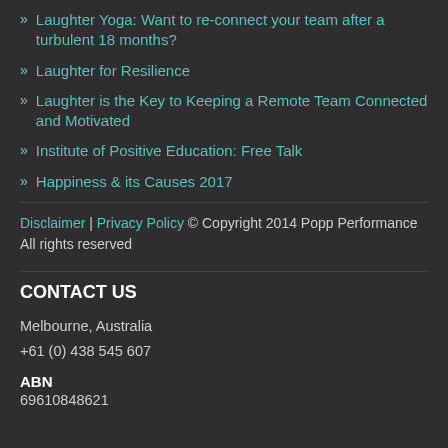Laughter Yoga: Want to re-connect your team after a turbulent 18 months?
Laughter for Resilience
Laughter is the Key to Keeping a Remote Team Connected and Motivated
Institute of Positive Education: Free Talk
Happiness & its Causes 2017
Disclaimer | Privacy Policy © Copyright 2014 Popp Performance All rights reserved
CONTACT US
Melbourne, Australia
+61 (0) 438 545 607
ABN
69610848621